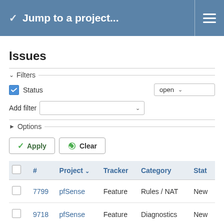Jump to a project...
Issues
Filters
Status | open
Add filter
Options
Apply | Clear
|  | # | Project | Tracker | Category | Stat |
| --- | --- | --- | --- | --- | --- |
|  | 7799 | pfSense | Feature | Rules / NAT | New |
|  | 9718 | pfSense | Feature | Diagnostics | New |